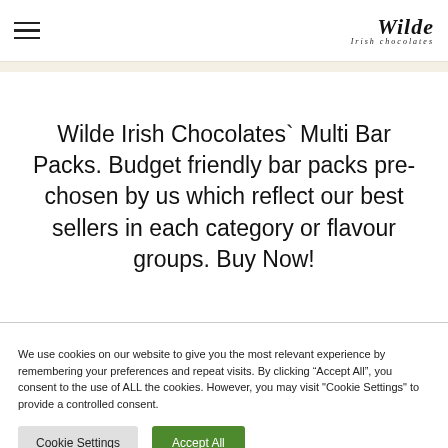Wilde Irish chocolates
Wilde Irish Chocolates` Multi Bar Packs. Budget friendly bar packs pre-chosen by us which reflect our best sellers in each category or flavour groups. Buy Now!
We use cookies on our website to give you the most relevant experience by remembering your preferences and repeat visits. By clicking “Accept All”, you consent to the use of ALL the cookies. However, you may visit "Cookie Settings" to provide a controlled consent.
Cookie Settings | Accept All